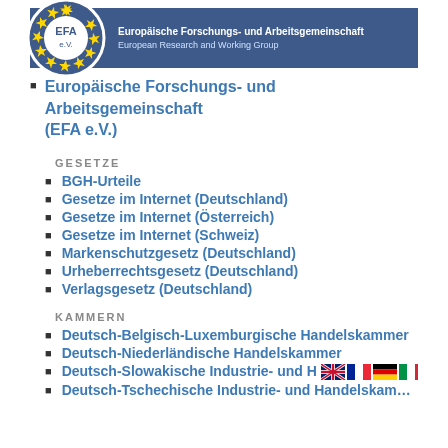[Figure (logo): EFA e.V. logo with EU stars circle on blue banner. Text: Europäische Forschungs- und Arbeitsgemeinschaft / European Research and Working Group]
Europäische Forschungs- und Arbeitsgemeinschaft (EFA e.V.)
GESETZE
BGH-Urteile
Gesetze im Internet (Deutschland)
Gesetze im Internet (Österreich)
Gesetze im Internet (Schweiz)
Markenschutzgesetz (Deutschland)
Urheberrechtsgesetz (Deutschland)
Verlagsgesetz (Deutschland)
KAMMERN
Deutsch-Belgisch-Luxemburgische Handelskammer
Deutsch-Niederländische Handelskammer
Deutsch-Slowakische Industrie- und H…
Deutsch-Tschechische Industrie- und Handelskammer